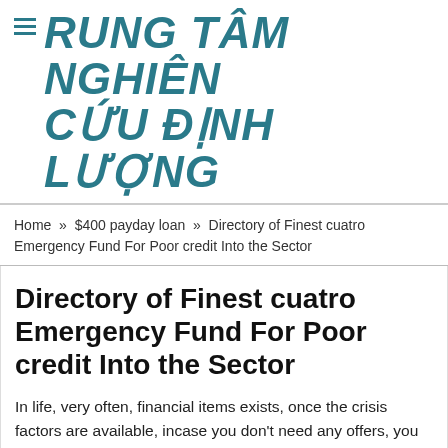TRUNG TÂM NGHIÊN CỨU ĐỊNH LƯỢNG
Home » $400 payday loan » Directory of Finest cuatro Emergency Fund For Poor credit Into the Sector
Directory of Finest cuatro Emergency Fund For Poor credit Into the Sector
In life, very often, financial items exists, once the crisis factors are available, incase you don't need any offers, you may be in an exceedingly tricky reputation. Whether or not